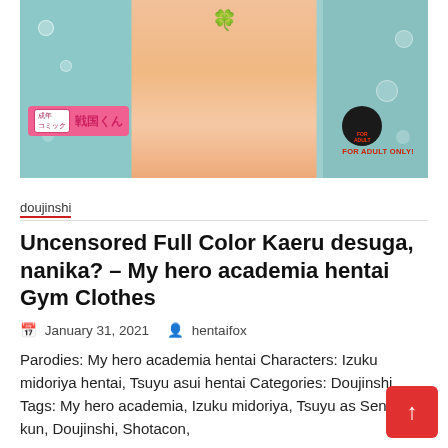[Figure (illustration): Cover image of a manga/doujinshi showing anime-style illustration with Japanese text labels including '成年コミック', '戦国くん', and 'FOR ADULT ONLY!' badge on a teal/aqua background with water drops]
doujinshi
Uncensored Full Color Kaeru desuga, nanika? – My hero academia hentai Gym Clothes
January 31, 2021   hentaifox
Parodies: My hero academia hentai Characters: Izuku midoriya hentai, Tsuyu asui hentai Categories: Doujinshi Tags: My hero academia, Izuku midoriya, Tsuyu as Sengoku-kun, Doujinshi, Shotacon,